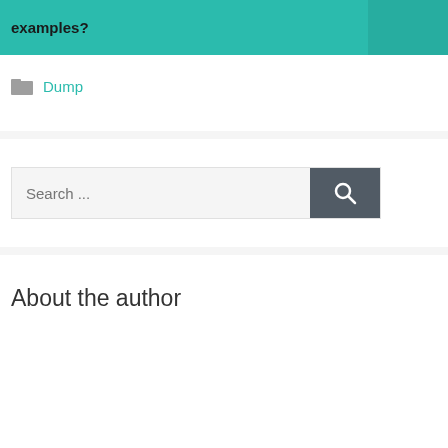examples?
Dump
[Figure (other): Search bar with text 'Search ...' and a dark gray search button with magnifying glass icon]
About the author